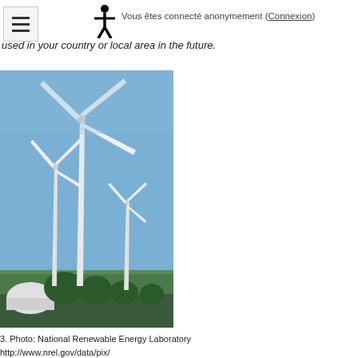Vous êtes connecté anonymement (Connexion)
used in your country or local area in the future.
[Figure (photo): Photograph of multiple wind turbines against a clear blue sky, with trees and a white dome structure visible at the base. Photo credit: National Renewable Energy Laboratory.]
3. Photo: National Renewable Energy Laboratory
http://www.nrel.gov/data/pix/